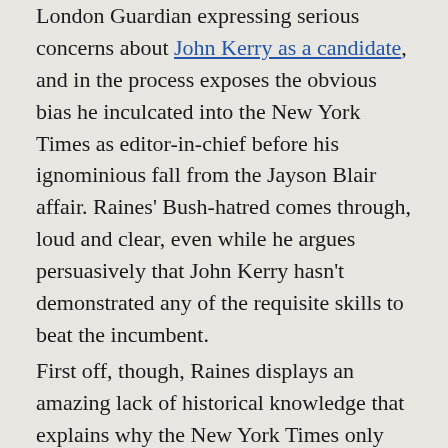London Guardian expressing serious concerns about John Kerry as a candidate, and in the process exposes the obvious bias he inculcated into the New York Times as editor-in-chief before his ignominious fall from the Jayson Blair affair. Raines' Bush-hatred comes through, loud and clear, even while he argues persuasively that John Kerry hasn't demonstrated any of the requisite skills to beat the incumbent.
First off, though, Raines displays an amazing lack of historical knowledge that explains why the New York Times only discovers homelessness during Republican administrations:
As America's first war-hero candidate